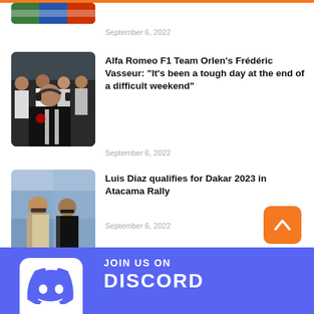[Figure (photo): Partial image visible at top left, colorful flags/graphic]
September 6, 2022
[Figure (photo): Alfa Romeo F1 team personnel, man in Alfa Romeo shirt with headphones, team members in background]
Alfa Romeo F1 Team Orlen's Frédéric Vasseur: "It's been a tough day at the end of a difficult weekend"
September 6, 2022
[Figure (photo): Two men posing together outdoors, one in a racing suit, sandy/desert background]
Luis Diaz qualifies for Dakar 2023 in Atacama Rally
September 6, 2022
[Figure (illustration): JOIN US ON DISCORD banner with Discord logo in white box on purple/blue background]